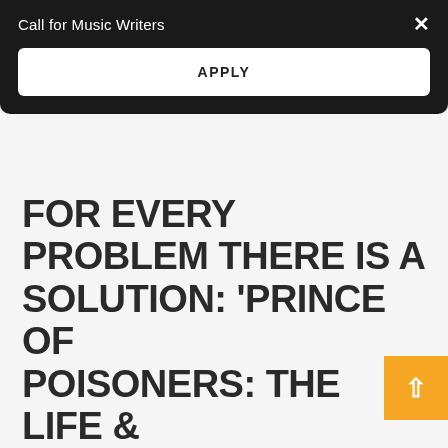Call for Music Writers
APPLY
FOR EVERY PROBLEM THERE IS A SOLUTION: 'PRINCE OF POISONERS: THE LIFE &